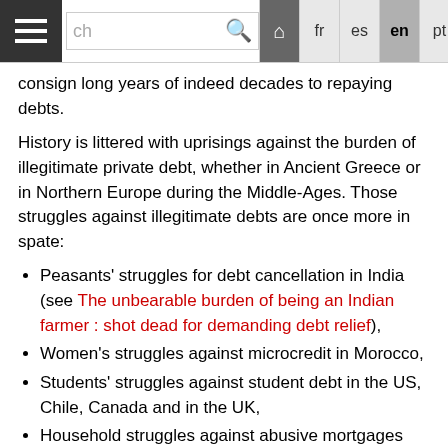Navigation bar with hamburger menu, search box, home icon, and language links: fr, es, en (active), pt, it, de, عربي
consign long years of indeed decades to repaying debts.
History is littered with uprisings against the burden of illegitimate private debt, whether in Ancient Greece or in Northern Europe during the Middle-Ages. Those struggles against illegitimate debts are once more in spate:
Peasants' struggles for debt cancellation in India (see The unbearable burden of being an Indian farmer : shot dead for demanding debt relief),
Women's struggles against microcredit in Morocco,
Students' struggles against student debt in the US, Chile, Canada and in the UK,
Household struggles against abusive mortgages and house seizures in Spain, the US, Greece (see "The Greek government and banks try to take away our homes every Wednesday at civil tribunal")